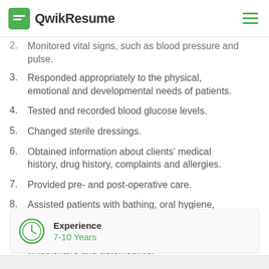QwikResume
Monitored vital signs, such as blood pressure and pulse.
Responded appropriately to the physical, emotional and developmental needs of patients.
Tested and recorded blood glucose levels.
Changed sterile dressings.
Obtained information about clients' medical history, drug history, complaints and allergies.
Provided pre- and post-operative care.
Assisted patients with bathing, oral hygiene, grooming, feeding and elimination.
Helped patients move in and out of beds, baths, wheelchairs and automobiles.
Experience
7-10 Years